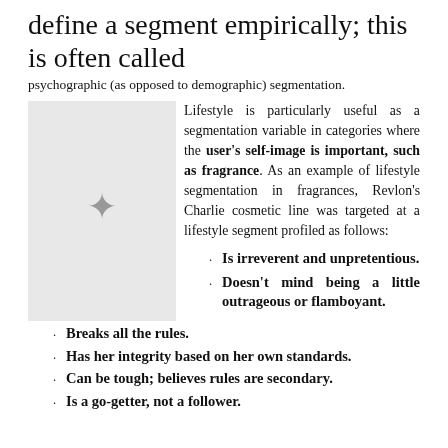define a segment empirically; this is often called
psychographic (as opposed to demographic) segmentation.
[Figure (photo): Small decorative image of a figure, appearing in the left column placeholder area with grey background.]
Lifestyle is particularly useful as a segmentation variable in categories where the user's self-image is important, such as fragrance. As an example of lifestyle segmentation in fragrances, Revlon's Charlie cosmetic line was targeted at a lifestyle segment profiled as follows:
Is irreverent and unpretentious.
Doesn't mind being a little outrageous or flamboyant.
Breaks all the rules.
Has her integrity based on her own standards.
Can be tough; believes rules are secondary.
Is a go-getter, not a follower.